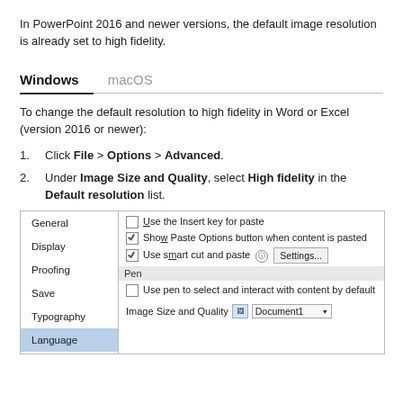In PowerPoint 2016 and newer versions, the default image resolution is already set to high fidelity.
Windows	macOS
To change the default resolution to high fidelity in Word or Excel (version 2016 or newer):
1. Click File > Options > Advanced.
2. Under Image Size and Quality, select High fidelity in the Default resolution list.
[Figure (screenshot): Screenshot of Word Options Advanced pane showing General, Display, Proofing, Save, Typography, Language in left nav (Language highlighted), and right pane showing: unchecked 'Use the Insert key for paste', checked 'Show Paste Options button when content is pasted', checked 'Use smart cut and paste' with Settings... button, Pen section header, unchecked 'Use pen to select and interact with content by default', and 'Image Size and Quality' row with Document1 dropdown.]